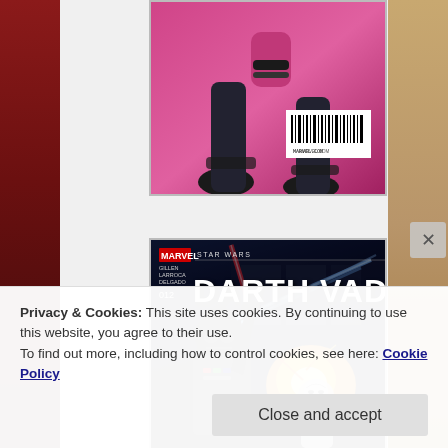[Figure (illustration): Partial view of a comic book cover showing a character's legs and boots in pink/magenta tones with a barcode in the lower right corner. White bordered frame.]
[Figure (illustration): Marvel Star Wars Darth Vader comic book cover, issue #012. Shows Darth Vader in a dramatic pose with lightsaber, blue energy beams, and a stormtrooper. Credits: Gillen, Larroca, Delgado.]
Privacy & Cookies: This site uses cookies. By continuing to use this website, you agree to their use.
To find out more, including how to control cookies, see here: Cookie Policy